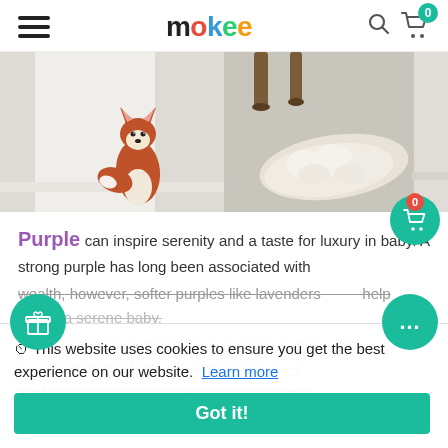mokee — navigation header with hamburger menu, logo, search and cart icons
[Figure (photo): Left: A fox-shaped stuffed toy door stopper leaning against a white door on beige carpet. Right: A fluffy white sheepskin rug on beige carpet next to furniture legs.]
Purple can inspire serenity and a taste for luxury in baby. A strong purple has long been associated with wealth, however, softer purples like lavenders help create a serene baby.
White is an obvious choice for a nursery as babies are pure and innocent. White will help evoke neutrality in baby, being able to see both sides of the argument in future life as they keep a cool head.
This website uses cookies to ensure you get the best experience on our website.  Learn more
Got it!